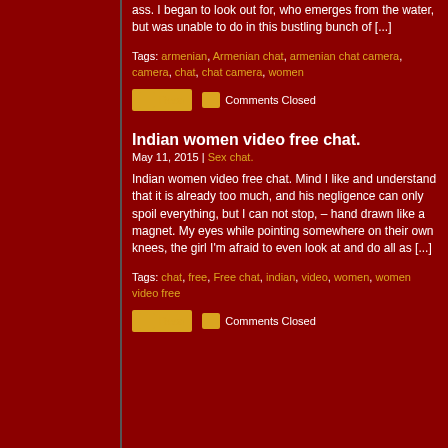ass. I began to look out for, who emerges from the water, but was unable to do in this bustling bunch of [...]
Tags: armenian, Armenian chat, armenian chat camera, camera, chat, chat camera, women
Read   Comments Closed
Indian women video free chat.
May 11, 2015 | Sex chat.
Indian women video free chat. Mind I like and understand that it is already too much, and his negligence can only spoil everything, but I can not stop, – hand drawn like a magnet. My eyes while pointing somewhere on their own knees, the girl I'm afraid to even look at and do all as [...]
Tags: chat, free, Free chat, indian, video, women, women video free
Read   Comments Closed